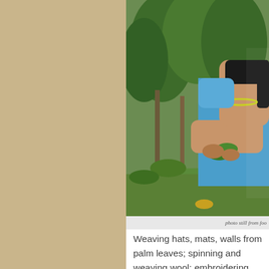[Figure (photo): Elderly woman in a blue top and yellow necklace holding green leaves in a garden with large leafy trees and plants behind her.]
photo still from foo
Weaving hats, mats, walls from palm leaves; spinning and weaving wool; embroidering complicated and colourful patterns onto materials for skirts, tops; cultivating medicines for every health complication, particularly for women;